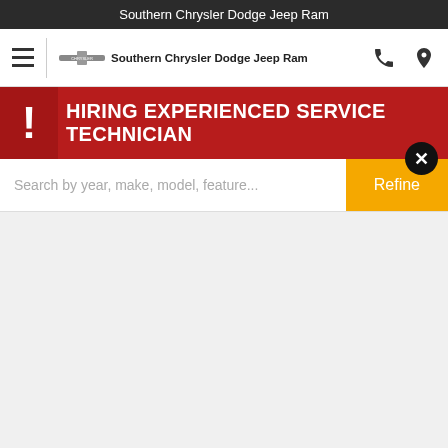Southern Chrysler Dodge Jeep Ram
[Figure (screenshot): Navigation bar with hamburger menu, Chrysler logo, dealer name 'Southern Chrysler Dodge Jeep Ram', phone icon, and location pin icon]
HIRING EXPERIENCED SERVICE TECHNICIAN
Search by year, make, model, feature...
Refine